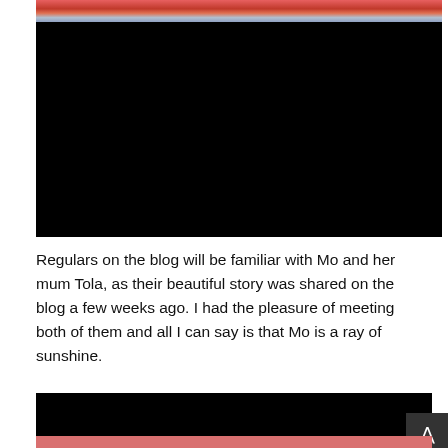[Figure (photo): Partial top strip of a colorful image with red and blue tones, partially cropped at the top of the page]
[Figure (photo): Large black rectangle representing a redacted or dark photograph in the upper portion of the page]
Regulars on the blog will be familiar with Mo and her mum Tola, as their beautiful story was shared on the blog a few weeks ago. I had the pleasure of meeting both of them and all I can say is that Mo is a ray of sunshine.
[Figure (photo): Black rectangle at the bottom of the page representing another redacted or dark photograph, partially cropped]
[Figure (other): Small dark scroll-to-top button with an upward chevron arrow on the right side]